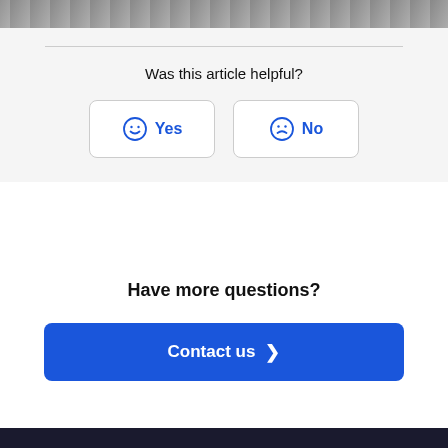[Figure (photo): Partial top crop of an image showing a dark wood or stone textured surface]
Was this article helpful?
[Figure (other): Two buttons: a smiley face icon with 'Yes' and a frowning face icon with 'No', both in blue on white rounded rectangle buttons]
Have more questions?
[Figure (other): A blue button labeled 'Contact us' with a right-pointing chevron]